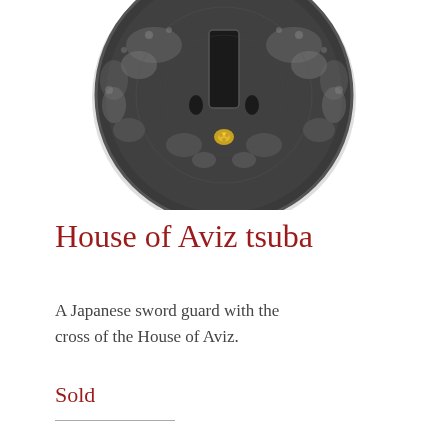[Figure (photo): A Japanese sword guard (tsuba) photographed from above. The guard is round, made of dark iron with intricate pierced openwork decoration showing floral and cloud motifs. It has a rectangular central opening (nakago-ana) for the blade tang. A small gold ornament is visible near the bottom center of the guard.]
House of Aviz tsuba
A Japanese sword guard with the cross of the House of Aviz.
Sold